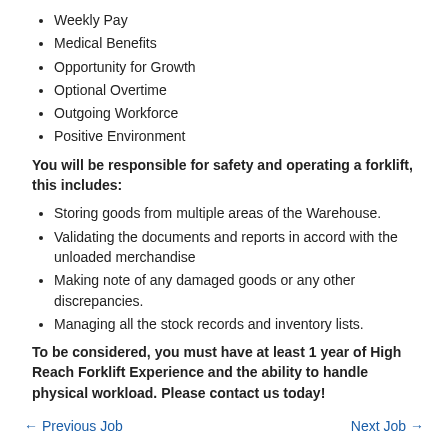Weekly Pay
Medical Benefits
Opportunity for Growth
Optional Overtime
Outgoing Workforce
Positive Environment
You will be responsible for safety and operating a forklift, this includes:
Storing goods from multiple areas of the Warehouse.
Validating the documents and reports in accord with the unloaded merchandise
Making note of any damaged goods or any other discrepancies.
Managing all the stock records and inventory lists.
To be considered, you must have at least 1 year of High Reach Forklift Experience and the ability to handle physical workload. Please contact us today!
← Previous Job    Next Job →